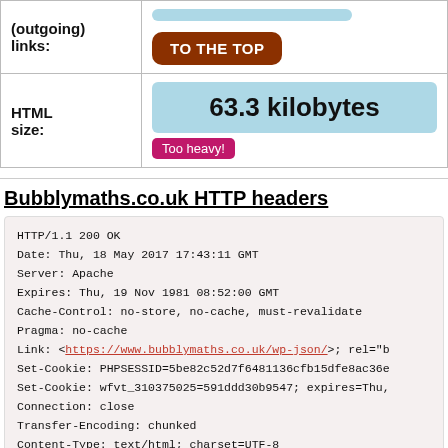| (outgoing) links: |  |
| --- | --- |
| (outgoing) links: | TO THE TOP |
| HTML size: | 63.3 kilobytes
Too heavy! |
Bubblymaths.co.uk HTTP headers
HTTP/1.1 200 OK
Date: Thu, 18 May 2017 17:43:11 GMT
Server: Apache
Expires: Thu, 19 Nov 1981 08:52:00 GMT
Cache-Control: no-store, no-cache, must-revalidate
Pragma: no-cache
Link: <https://www.bubblymaths.co.uk/wp-json/>; rel="b
Set-Cookie: PHPSESSID=5be82c52d7f6481136cfb15dfe8ac36e
Set-Cookie: wfvt_310375025=591ddd30b9547; expires=Thu,
Connection: close
Transfer-Encoding: chunked
Content-Type: text/html; charset=UTF-8
Set-Cookie: DYNSRV=lin-10-170-0-44; path=/